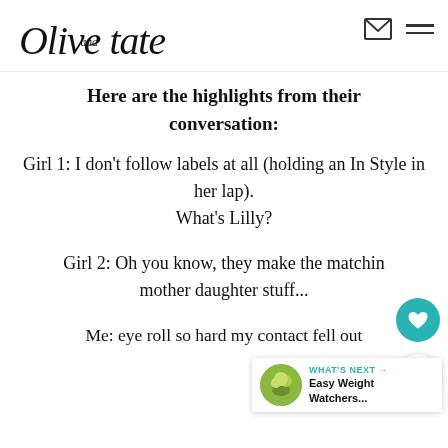Olive and Tate
Here are the highlights from their conversation:
Girl 1: I don't follow labels at all (holding an In Style in her lap).
What's Lilly?
Girl 2: Oh you know, they make the matching mother daughter stuff...
Me: eye roll so hard my contact fell out